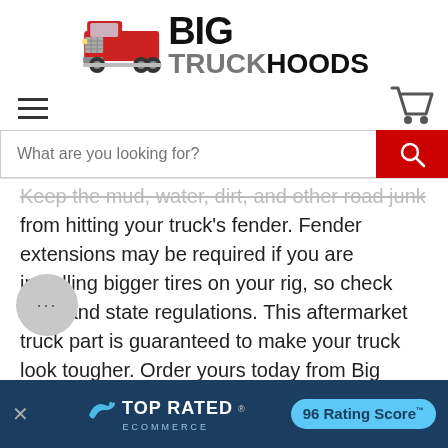[Figure (logo): Big Truck Hoods logo with red truck illustration and bold text reading BIG TRUCKHOODS]
[Figure (illustration): Hamburger menu icon (three horizontal lines) on the left]
[Figure (illustration): Shopping cart icon on the right]
What are you looking for? [search bar with red search button]
Keep the mud, water, dirt, and other road junk from hitting your truck's fender. Fender extensions may be required if you are installing bigger tires on your rig, so check local and state regulations. This aftermarket truck part is guaranteed to make your truck look tougher. Order yours today from Big Truck Hoods online t…
Fast shipping
Top notch…
[Figure (illustration): Gray circular chat bubble with ellipsis (...)]
[Figure (infographic): Dark blue bottom banner showing TOP RATED ECOMMERCE badge with 96 Rating Score and a close X button]